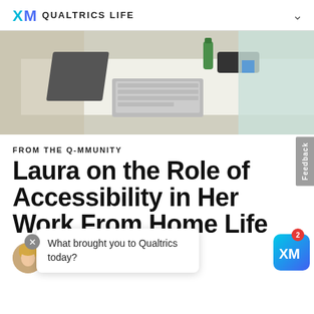XM QUALTRICS LIFE
[Figure (photo): Photo of people sitting at a white desk with a laptop and phone, taken from above/side angle]
FROM THE Q-MMUNITY
Laura on the Role of Accessibility in Her Work From Home Life
What brought you to Qualtrics today?
Laura Bairett